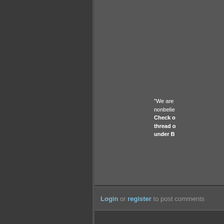"We are nonbelie... Check o... thread o... under B...
Login or register to post comments
#8
Shaitian
Posts: 386
Joined: 2006-07-15
Offline
Welcome... one ann...